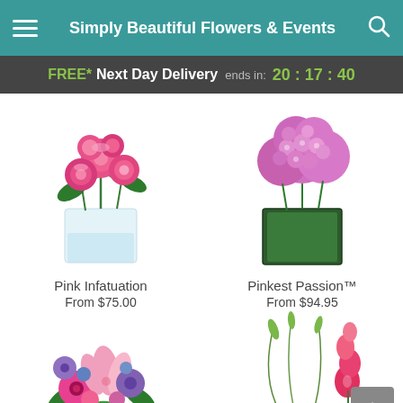Simply Beautiful Flowers & Events
FREE* Next Day Delivery ends in: 20:17:40
[Figure (photo): Pink roses in a clear square glass vase with green foliage]
Pink Infatuation
From $75.00
[Figure (photo): Purple/pink hydrangea flowers in a dark green square glass vase]
Pinkest Passion™
From $94.95
[Figure (photo): Mixed pink, purple, and white floral bouquet with lilies, gerberas, and assorted flowers]
[Figure (photo): Tall slender floral arrangement with gladiolus and curved grass stems on a white background]